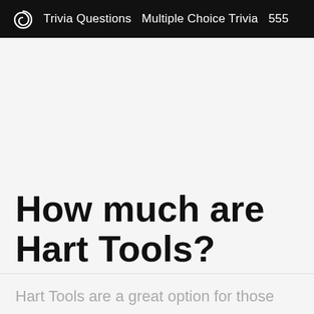Trivia Questions  Multiple Choice Trivia  555
How much are Hart Tools?
Hart Tools are a great option for those